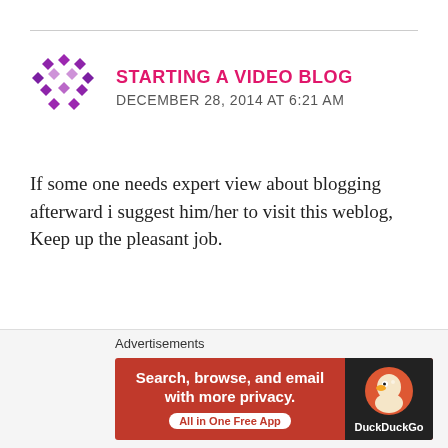[Figure (logo): Purple geometric/diamond pattern avatar icon for 'Starting A Video Blog']
STARTING A VIDEO BLOG
DECEMBER 28, 2014 AT 6:21 AM
If some one needs expert view about blogging afterward i suggest him/her to visit this weblog, Keep up the pleasant job.
Like
REPLY
[Figure (screenshot): DuckDuckGo advertisement banner: 'Search, browse, and email with more privacy. All in One Free App' with DuckDuckGo logo on dark background]